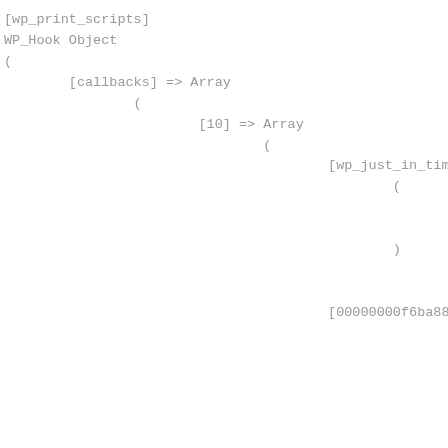[wp_print_scripts]
WP_Hook Object
(
    [callbacks] => Array
        (
            [10] => Array
                (
                    [wp_just_in_time_script_
                        (
                            [function] => wp
                            [accepted_args]
                        )


                    [00000000f6ba8800000000